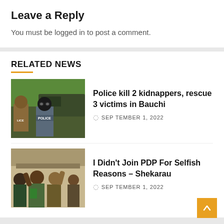Leave a Reply
You must be logged in to post a comment.
RELATED NEWS
[Figure (photo): Police officers in tactical gear, one wearing a balaclava, standing near a vehicle with 'POLICE' vest visible]
Police kill 2 kidnappers, rescue 3 victims in Bauchi
SEPTEMBER 1, 2022
[Figure (photo): People with raised hands, appearing to celebrate outdoors]
I Didn't Join PDP For Selfish Reasons – Shekarau
SEPTEMBER 1, 2022